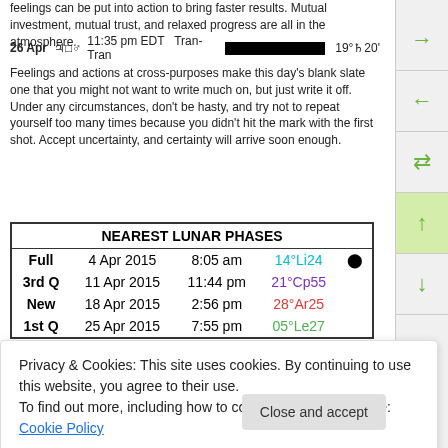feelings can be put into action to bring faster results. Mutual investment, mutual trust, and relaxed progress are all in the atmosphere.
26 Apr  ♃□♂  11:35 pm EDT  Tran-Tran  [aspect bar]  19°♄20'
Feelings and actions at cross-purposes make this day's blank slate one that you might not want to write much on, but just write it off. Under any circumstances, don't be hasty, and try not to repeat yourself too many times because you didn't hit the mark with the first shot. Accept uncertainty, and certainty will arrive soon enough.
|  | NEAREST LUNAR PHASES |  |  |
| --- | --- | --- | --- |
| Full | 4 Apr 2015 | 8:05 am | 14°Li24 | ● |
| 3rd Q | 11 Apr 2015 | 11:44 pm | 21°Cp55 |  |
| New | 18 Apr 2015 | 2:56 pm | 28°Ar25 |  |
| 1st Q | 25 Apr 2015 | 7:55 pm | 05°Le27 |  |
Privacy & Cookies: This site uses cookies. By continuing to use this website, you agree to their use.
To find out more, including how to control cookies, see here: Cookie Policy
| ☉ ● | 13 Sep 2015 | 2:41 am | 20°Vi10 | Partial | S125 |
| --- | --- | --- | --- | --- | --- |